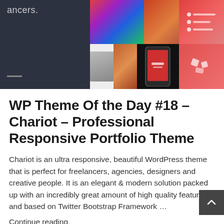[Figure (screenshot): Screenshot of a WordPress theme called Chariot showing a dark left panel with text 'ancers.' and a grid of colorful portfolio images on the right with a smartphone mockup displaying a red design]
WP Theme Of the Day #18 – Chariot – Professional Responsive Portfolio Theme
Chariot is an ultra responsive, beautiful WordPress theme that is perfect for freelancers, agencies, designers and creative people. It is an elegant & modern solution packed up with an incredibly great amount of high quality features and based on Twitter Bootstrap Framework …
Continue reading.